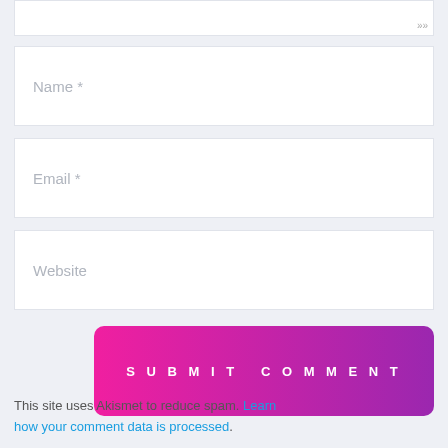[Figure (screenshot): Textarea input box (top portion visible) with resize handle icon in bottom-right corner]
Name *
Email *
Website
SUBMIT COMMENT
This site uses Akismet to reduce spam. Learn how your comment data is processed.